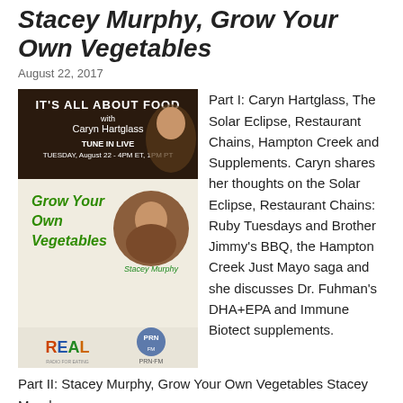Stacey Murphy, Grow Your Own Vegetables
August 22, 2017
[Figure (photo): Podcast cover image for 'It's All About Food with Caryn Hartglass' featuring Stacey Murphy, Grow Your Own Vegetables, on PRN.FM and REAL]
Part I: Caryn Hartglass, The Solar Eclipse, Restaurant Chains, Hampton Creek and Supplements. Caryn shares her thoughts on the Solar Eclipse, Restaurant Chains: Ruby Tuesdays and Brother Jimmy's BBQ, the Hampton Creek Just Mayo saga and she discusses Dr. Fuhman's DHA+EPA and Immune Biotect supplements. Part II: Stacey Murphy, Grow Your Own Vegetables Stacey Murphy…
Read more →